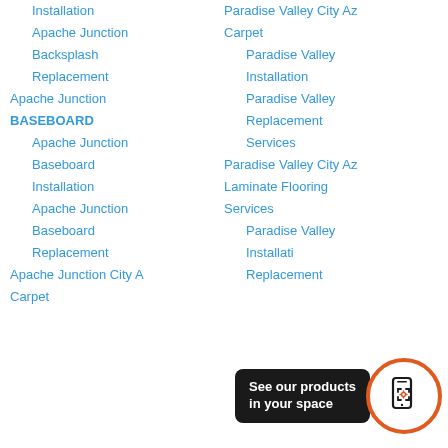Installation
Apache Junction
Backsplash
Replacement
Apache Junction
BASEBOARD
Apache Junction
Baseboard
Installation
Apache Junction
Baseboard
Replacement
Apache Junction City A
Carpet
Paradise Valley City Az
Carpet
Paradise Valley
Installation
Paradise Valley
Replacement
Services
Paradise Valley City Az
Laminate Flooring
Services
Paradise Valley
Installation
Replacement
[Figure (other): Orange-bordered circular badge with phone/AR icon and tooltip saying 'See our products in your space']